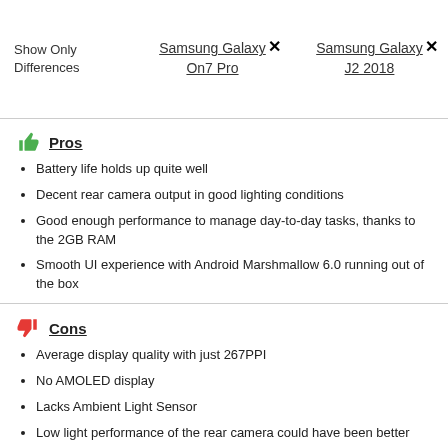Show Only Differences | Samsung Galaxy On7 Pro × | Samsung Galaxy J2 2018 ×
Pros
Battery life holds up quite well
Decent rear camera output in good lighting conditions
Good enough performance to manage day-to-day tasks, thanks to the 2GB RAM
Smooth UI experience with Android Marshmallow 6.0 running out of the box
Cons
Average display quality with just 267PPI
No AMOLED display
Lacks Ambient Light Sensor
Low light performance of the rear camera could have been better
Not an ideal device for graphic intensive gaming
Samsung Galaxy J2 2018 Pros & Cons
Pros
Dual sim functionality